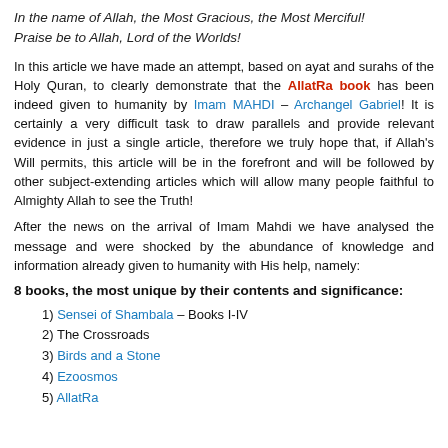In the name of Allah, the Most Gracious, the Most Merciful!
Praise be to Allah, Lord of the Worlds!
In this article we have made an attempt, based on ayat and surahs of the Holy Quran, to clearly demonstrate that the AllatRa book has been indeed given to humanity by Imam MAHDI – Archangel Gabriel! It is certainly a very difficult task to draw parallels and provide relevant evidence in just a single article, therefore we truly hope that, if Allah's Will permits, this article will be in the forefront and will be followed by other subject-extending articles which will allow many people faithful to Almighty Allah to see the Truth!
After the news on the arrival of Imam Mahdi we have analysed the message and were shocked by the abundance of knowledge and information already given to humanity with His help, namely:
8 books, the most unique by their contents and significance:
1) Sensei of Shambala – Books I-IV
2) The Crossroads
3) Birds and a Stone
4) Ezoosmos
5) AllatRa